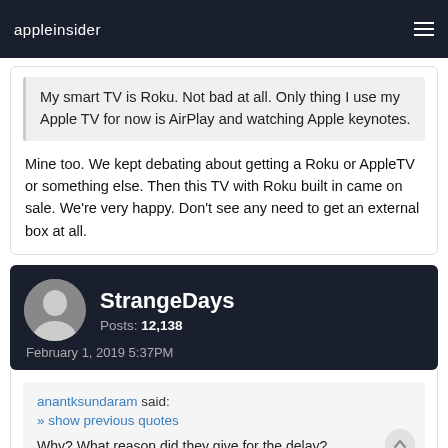appleinsider
My smart TV is Roku. Not bad at all. Only thing I use my Apple TV for now is AirPlay and watching Apple keynotes.
Mine too. We kept debating about getting a Roku or AppleTV or something else. Then this TV with Roku built in came on sale. We're very happy. Don't see any need to get an external box at all.
StrangeDays
Posts: 12,138
February 1, 2019 5:37PM
anantksundaram said:
» show previous quotes
Why? What reason did they give for the delay?